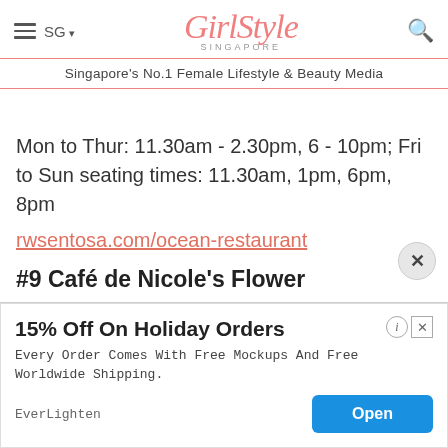GirlStyle SINGAPORE — Singapore's No.1 Female Lifestyle & Beauty Media
Mon to Thur: 11.30am - 2.30pm, 6 - 10pm; Fri to Sun seating times: 11.30am, 1pm, 6pm, 8pm
rwsentosa.com/ocean-restaurant
#9 Café de Nicole's Flower
[Figure (screenshot): Advertisement banner: 15% Off On Holiday Orders — Every Order Comes With Free Mockups And Free Worldwide Shipping. EverLighten. Open button.]